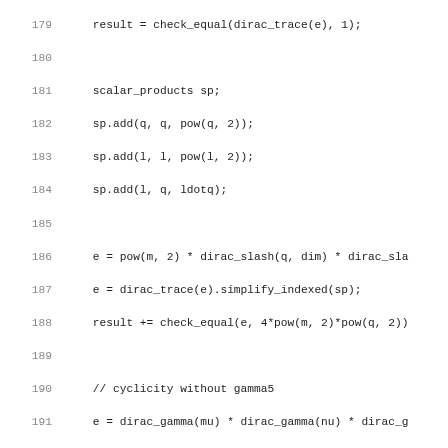Code listing showing lines 179-211 of a C++ source file with Dirac algebra computations including scalar products, dirac_trace, dirac_gamma, dirac_gamma5, and cyclicity checks.